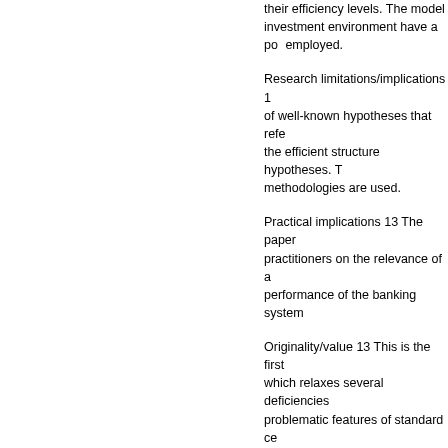their efficiency levels. The model investment environment have a positive effect employed.
Research limitations/implications 13 of well-known hypotheses that refer the efficient structure hypotheses. T methodologies are used.
Practical implications 13 The paper practitioners on the relevance of a performance of the banking system.
Originality/value 13 This is the first which relaxes several deficiencies problematic features of standard ce.
| Label | Value |
| --- | --- |
| Item Type: | Artic |
| Schools and Departments: | Univ |
| Subjects: | H So
H So |
| Related URLs: |  |